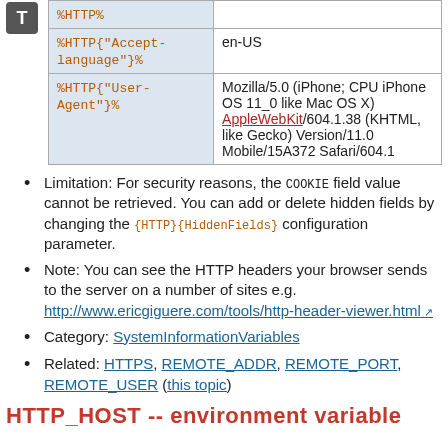| Variable | Example value |
| --- | --- |
| %HTTP% |  |
| %HTTP{"Accept-language"}% | en-US |
| %HTTP{"User-Agent"}% | Mozilla/5.0 (iPhone; CPU iPhone OS 11_0 like Mac OS X) AppleWebKit/604.1.38 (KHTML, like Gecko) Version/11.0 Mobile/15A372 Safari/604.1 |
Limitation: For security reasons, the COOKIE field value cannot be retrieved. You can add or delete hidden fields by changing the {HTTP}{HiddenFields} configuration parameter.
Note: You can see the HTTP headers your browser sends to the server on a number of sites e.g. http://www.ericgiguere.com/tools/http-header-viewer.html
Category: SystemInformationVariables
Related: HTTPS, REMOTE_ADDR, REMOTE_PORT, REMOTE_USER (this topic)
HTTP_HOST -- environment variable